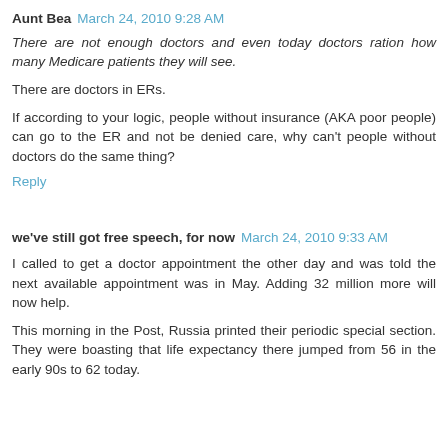Aunt Bea  March 24, 2010 9:28 AM
There are not enough doctors and even today doctors ration how many Medicare patients they will see.
There are doctors in ERs.
If according to your logic, people without insurance (AKA poor people) can go to the ER and not be denied care, why can't people without doctors do the same thing?
Reply
we've still got free speech, for now  March 24, 2010 9:33 AM
I called to get a doctor appointment the other day and was told the next available appointment was in May. Adding 32 million more will now help.
This morning in the Post, Russia printed their periodic special section. They were boasting that life expectancy there jumped from 56 in the early 90s to 62 today.